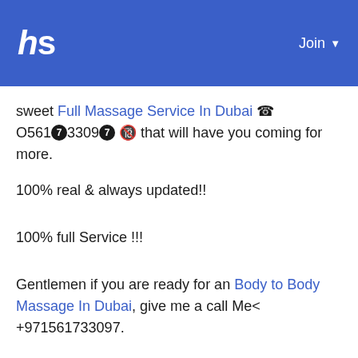hs  Join
sweet Full Massage Service In Dubai 🤙 O561❼3309❼ 🔞 that will have you coming for more.
100% real & always updated!!
100% full Service !!!
Gentlemen if you are ready for an Body to Body Massage In Dubai, give me a call Me< +971561733097.